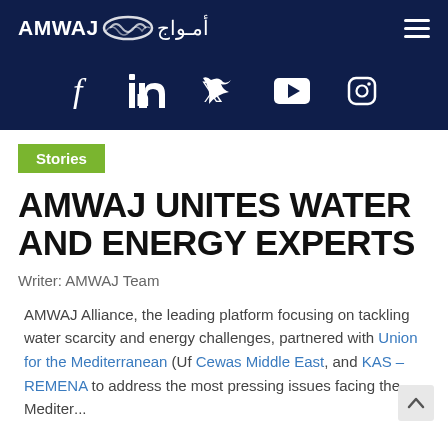AMWAJ أمـواج — navigation header with hamburger menu
[Figure (logo): AMWAJ logo with Arabic text أمـواج and wave graphic, white on dark navy background]
[Figure (infographic): Social media icons: Facebook, LinkedIn, Twitter, YouTube, Instagram — white icons on dark navy background]
Stories
AMWAJ UNITES WATER AND ENERGY EXPERTS
Writer: AMWAJ Team
AMWAJ Alliance, the leading platform focusing on tackling water scarcity and energy challenges, partnered with Union for the Mediterranean (Uf Cewas Middle East, and KAS – REMENA to address the most pressing issues facing the Mediter...